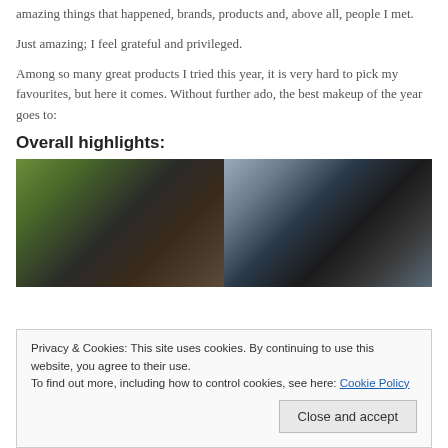amazing things that happened, brands, products and, above all, people I met.
Just amazing; I feel grateful and privileged.
Among so many great products I tried this year, it is very hard to pick my favourites, but here it comes. Without further ado, the best makeup of the year goes to:
Overall highlights:
[Figure (photo): Two side-by-side photos of a woman with dark hair outdoors]
Privacy & Cookies: This site uses cookies. By continuing to use this website, you agree to their use.
To find out more, including how to control cookies, see here: Cookie Policy
Close and accept